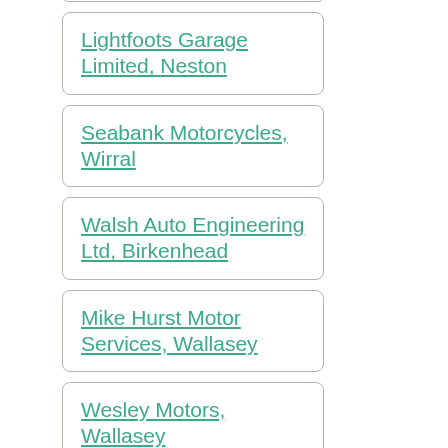Lightfoots Garage Limited, Neston
Seabank Motorcycles, Wirral
Walsh Auto Engineering Ltd, Birkenhead
Mike Hurst Motor Services, Wallasey
Wesley Motors, Wallasey
Mike Hose Motorcycles